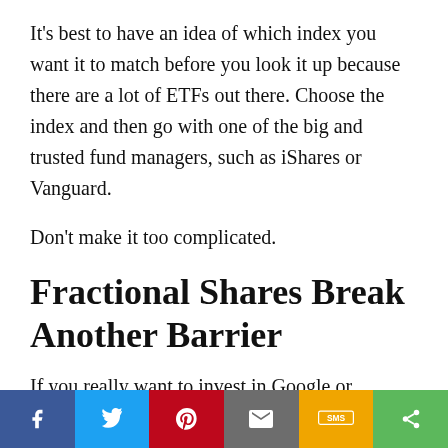It’s best to have an idea of which index you want it to match before you look it up because there are a lot of ETFs out there. Choose the index and then go with one of the big and trusted fund managers, such as iShares or Vanguard.
Don’t make it too complicated.
Fractional Shares Break Another Barrier
If you really want to invest in Google or Amazon but have less than what one share costs, it’s still possible with fractional shares.
[Figure (other): Social sharing footer bar with six colored buttons: Facebook (blue), Twitter (light blue), Pinterest (red), Email (gray), SMS (yellow/orange), Share (green)]